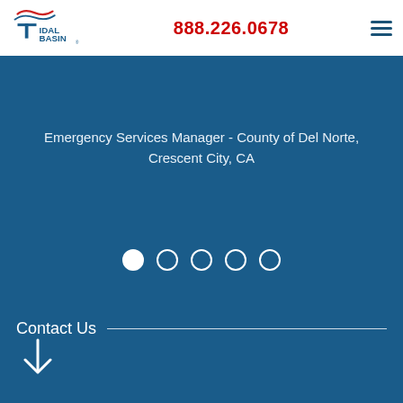[Figure (logo): Tidal Basin logo with wave graphic in red/blue and blue text]
888.226.0678
[Figure (infographic): Hamburger menu icon (three horizontal lines)]
Emergency Services Manager - County of Del Norte, Crescent City, CA
[Figure (infographic): Carousel navigation dots: 5 dots, first filled (active), rest empty circles]
Contact Us
[Figure (infographic): Down arrow icon below Contact Us]